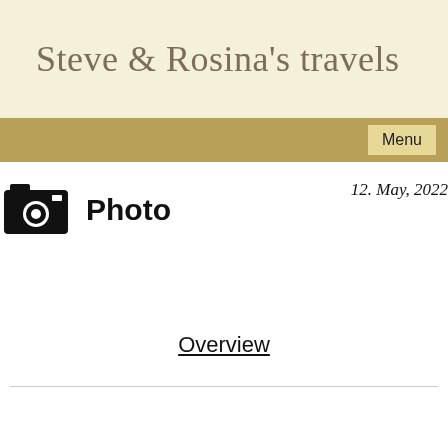Steve & Rosina's travels
Menu
Photo
12. May, 2022
Overview